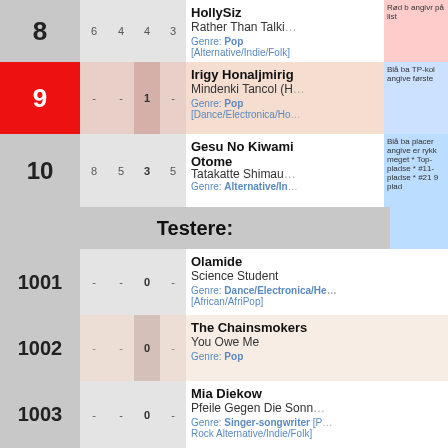| Rank | Col1 | Col2 | Col3 | Col4 | Artist/Song/Genre |
| --- | --- | --- | --- | --- | --- |
| 8 | 6 | 4 | 4 | 3 | HollySiz / Rather Than Talking / Genre: Pop [Alternative/Indie/Folk] |
| 9 | - | - | 1 | - | Irigy Honaljmirig / Mindenki Tancol (H) / Genre: Pop [Dance/Electronica/Ho...] |
| 10 | 8 | 5 | 3 | 5 | Gesu No Kiwami Otome / Tatakatte Shimau / Genre: Alternative/In... |
| Testere: |  |  |  |  |  |
| 1001 | - | - | 0 | - | Olamide / Science Student / Genre: Dance/Electronica/He [African/AfriPop] |
| 1002 | - | - | 0 | - | The Chainsmokers / You Owe Me / Genre: Pop |
| 1003 | - | - | 0 | - | Mia Diekow / Pfeile Gegen Die Sonne / Genre: Singer-songwriter [P... Rock Alternative/Indie/Folk] |